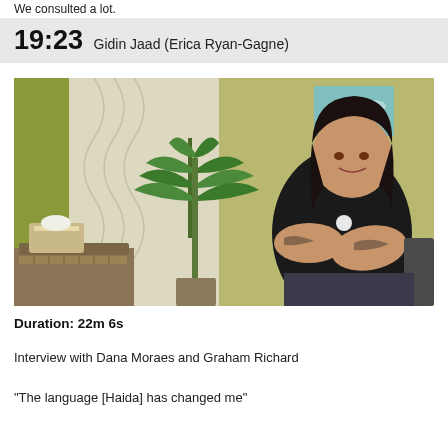We consulted a lot.
19:23 Gidin Jaad (Erica Ryan-Gagne)
[Figure (photo): A woman with dark hair wearing a black shirt seated in a chair, speaking with hands gesturing. Background shows a green plant, a white curtain, and a small painting on the wall. A table with items is visible to the left.]
Duration: 22m 6s
Interview with Dana Moraes and Graham Richard
"The language [Haida] has changed me"